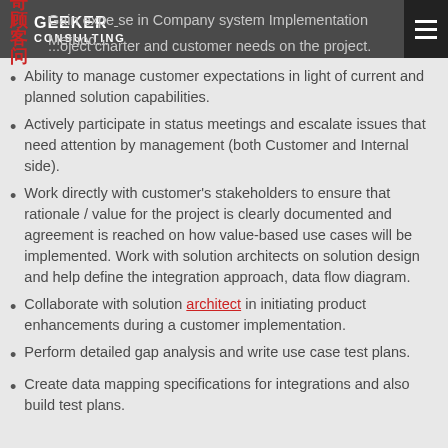Geeker Consulting
Gain expertise in Company system Implementation Methodology.
Understand project charter and customer needs on the project.
Ability to manage customer expectations in light of current and planned solution capabilities.
Actively participate in status meetings and escalate issues that need attention by management (both Customer and Internal side).
Work directly with customer's stakeholders to ensure that rationale / value for the project is clearly documented and agreement is reached on how value-based use cases will be implemented. Work with solution architects on solution design and help define the integration approach, data flow diagram.
Collaborate with solution architect in initiating product enhancements during a customer implementation.
Perform detailed gap analysis and write use case test plans.
Create data mapping specifications for integrations and also build test plans.